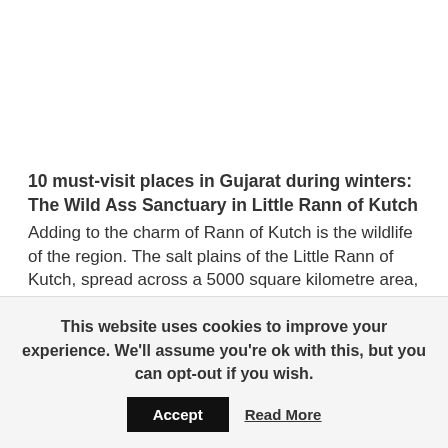10 must-visit places in Gujarat during winters: The Wild Ass Sanctuary in Little Rann of Kutch
Adding to the charm of Rann of Kutch is the wildlife of the region. The salt plains of the Little Rann of Kutch, spread across a 5000 square kilometre area, are also home to the Wild Ass Sanctuary – the only place on earth where the endangered Indian Wild Ass still lives. With more than a meter in height and two meters in length, the wild asses
This website uses cookies to improve your experience. We'll assume you're ok with this, but you can opt-out if you wish.